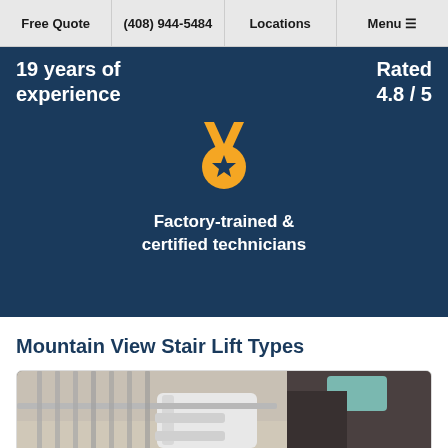Free Quote | (408) 944-5484 | Locations | Menu
19 years of experience
Rated 4.8 / 5
[Figure (illustration): Gold medal icon with star, representing factory-trained and certified technicians]
Factory-trained & certified technicians
Mountain View Stair Lift Types
[Figure (photo): Photo of a stair lift installed on a staircase with metal railings, showing the white seat and armrests, with a dark leather sofa visible in the background]